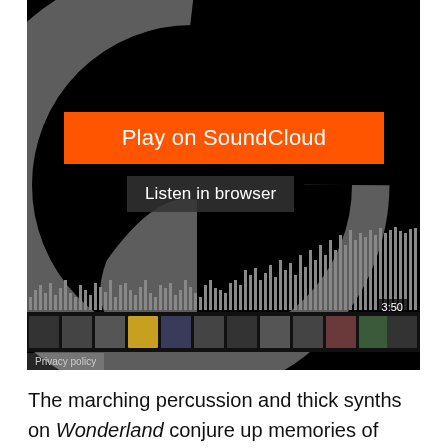[Figure (screenshot): SoundCloud embedded player widget with a black background showing the SoundCloud logo (large gray 'G' shaped cloud icon), an orange 'Play on SoundCloud' button, a 'Listen in browser' dark button, a waveform visualization at the bottom with gray bars, a row of album art thumbnails, a duration badge showing '3:50', and a 'Privacy policy' link in the lower left corner.]
The marching percussion and thick synths on Wonderland conjure up memories of early OMD and very early Human